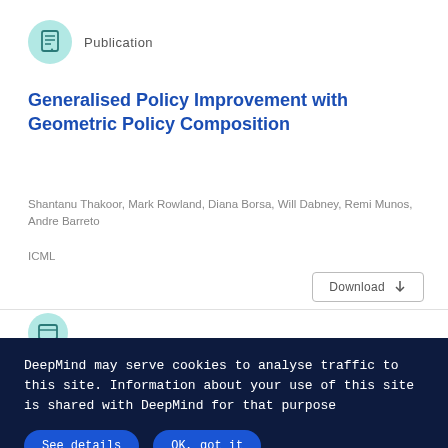Publication
Generalised Policy Improvement with Geometric Policy Composition
Shantanu Thakoor, Mark Rowland, Diana Borsa, Will Dabney, Remi Munos, Andre Barreto
ICML
Download
DeepMind may serve cookies to analyse traffic to this site. Information about your use of this site is shared with DeepMind for that purpose
See details
OK, got it